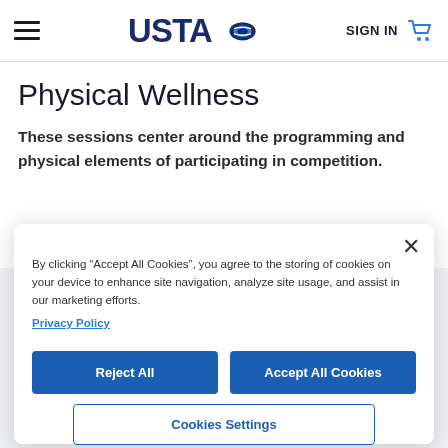USTA | SIGN IN
Physical Wellness
These sessions center around the programming and physical elements of participating in competition.
By clicking “Accept All Cookies”, you agree to the storing of cookies on your device to enhance site navigation, analyze site usage, and assist in our marketing efforts. Privacy Policy
Reject All
Accept All Cookies
Cookies Settings